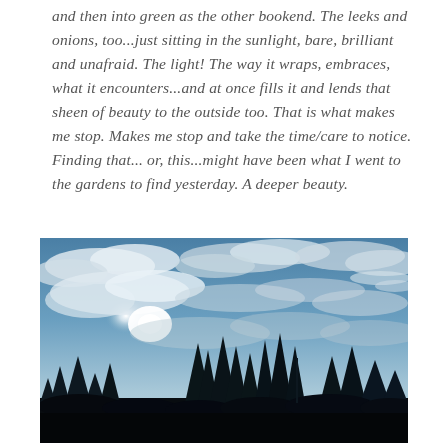and then into green as the other bookend. The leeks and onions, too...just sitting in the sunlight, bare, brilliant and unafraid. The light! The way it wraps, embraces, what it encounters...and at once fills it and lends that sheen of beauty to the outside too. That is what makes me stop. Makes me stop and take the time/care to notice. Finding that... or, this...might have been what I went to the gardens to find yesterday. A deeper beauty.
[Figure (photo): Outdoor sky photograph showing blue sky with scattered white clouds and bright sunlight, with silhouettes of pine trees and other trees along the bottom horizon.]